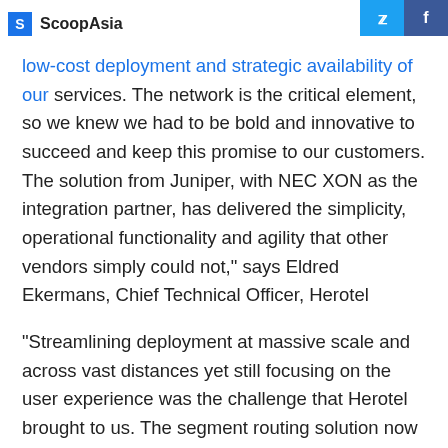ScoopAsia
low-cost deployment and strategic availability of our services. The network is the critical element, so we knew we had to be bold and innovative to succeed and keep this promise to our customers. The solution from Juniper, with NEC XON as the integration partner, has delivered the simplicity, operational functionality and agility that other vendors simply could not," says Eldred Ekermans, Chief Technical Officer, Herotel
"Streamlining deployment at massive scale and across vast distances yet still focusing on the user experience was the challenge that Herotel brought to us. The segment routing solution now in place delivers